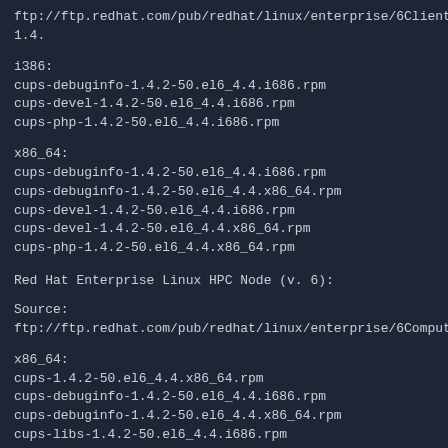ftp://ftp.redhat.com/pub/redhat/linux/enterprise/6Client/en/os/SRPMS/cups-1.4.
i386:
cups-debuginfo-1.4.2-50.el6_4.4.i686.rpm
cups-devel-1.4.2-50.el6_4.4.i686.rpm
cups-php-1.4.2-50.el6_4.4.i686.rpm
x86_64:
cups-debuginfo-1.4.2-50.el6_4.4.i686.rpm
cups-debuginfo-1.4.2-50.el6_4.4.x86_64.rpm
cups-devel-1.4.2-50.el6_4.4.i686.rpm
cups-devel-1.4.2-50.el6_4.4.x86_64.rpm
cups-php-1.4.2-50.el6_4.4.x86_64.rpm
Red Hat Enterprise Linux HPC Node (v. 6):
Source:
ftp://ftp.redhat.com/pub/redhat/linux/enterprise/6ComputeNode/en/os/SRPMS/c
x86_64:
cups-1.4.2-50.el6_4.4.x86_64.rpm
cups-debuginfo-1.4.2-50.el6_4.4.i686.rpm
cups-debuginfo-1.4.2-50.el6_4.4.x86_64.rpm
cups-libs-1.4.2-50.el6_4.4.i686.rpm
cups-libs-1.4.2-50.el6_4.4.x86_64.rpm
cups-lpd-1.4.2-50.el6_4.4.x86_64.rpm
Red Hat Enterprise Linux HPC Node Optional (v. 6):
Source:
ftp://ftp.redhat.com/pub/redhat/linux/enterprise/6ComputeNode/en/os/SRPMS/c